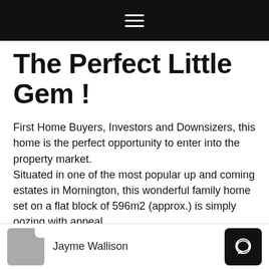≡
The Perfect Little Gem !
First Home Buyers, Investors and Downsizers, this home is the perfect opportunity to enter into the property market.
Situated in one of the most popular up and coming estates in Mornington, this wonderful family home set on a flat block of 596m2 (approx.) is simply oozing with appeal.
A neat and tidy brick home, nestled privately behind
Jayme Wallison